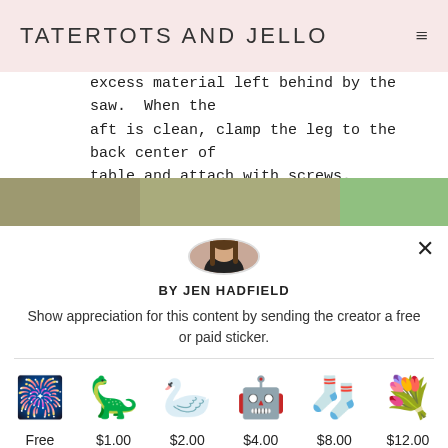TATERTOTS AND JELLO
excess material left behind by the saw. When the aft is clean, clamp the leg to the back center of table and attach with screws.
[Figure (photo): Partial photo strip showing a wooden table surface and green background]
[Figure (photo): Circular profile photo of Jen Hadfield]
BY JEN HADFIELD
Show appreciation for this content by sending the creator a free or paid sticker.
[Figure (infographic): Six sticker options with prices: Free, $1.00, $2.00, $4.00, $8.00, $12.00]